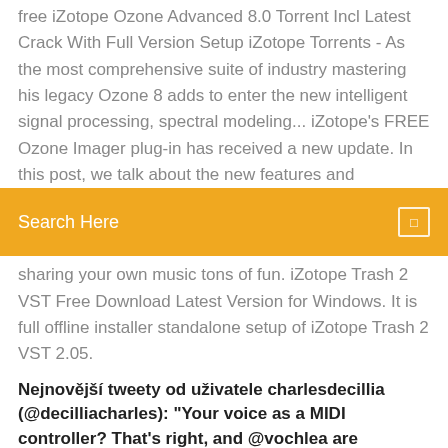free iZotope Ozone Advanced 8.0 Torrent Incl Latest Crack With Full Version Setup iZotope Torrents - As the most comprehensive suite of industry mastering his legacy Ozone 8 adds to enter the new intelligent signal processing, spectral modeling... iZotope's FREE Ozone Imager plug-in has received a new update. In this post, we talk about the new features and
[Figure (screenshot): Orange search bar with 'Search Here' placeholder text and a small square icon on the right]
sharing your own music tons of fun. iZotope Trash 2 VST Free Download Latest Version for Windows. It is full offline installer standalone setup of iZotope Trash 2 VST 2.05.
Nejnovější tweety od uživatele charlesdecillia (@decilliacharles): "Your voice as a MIDI controller? That's right, and @vochlea are launching it on Kickstarter in Spring. Check it out!"
iZotope Ozone 8 Advanced (Serial Download) Izotope Computer Music 10% off Virtual Instruments & Plugins - Use code VIP10 ,